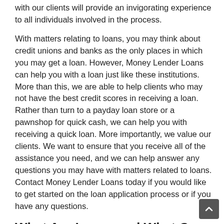with our clients will provide an invigorating experience to all individuals involved in the process.
With matters relating to loans, you may think about credit unions and banks as the only places in which you may get a loan. However, Money Lender Loans can help you with a loan just like these institutions. More than this, we are able to help clients who may not have the best credit scores in receiving a loan. Rather than turn to a payday loan store or a pawnshop for quick cash, we can help you with receiving a quick loan. More importantly, we value our clients. We want to ensure that you receive all of the assistance you need, and we can help answer any questions you may have with matters related to loans. Contact Money Lender Loans today if you would like to get started on the loan application process or if you have any questions.
What Are Loans and What Can They Do for Me?
In its most simplistic form, loans are borrowed sums of money that are lent out to individuals who may not have the amount of money they need. Loans are given out to individuals on the condition that they will pay them back over time plus any interest that may incur.